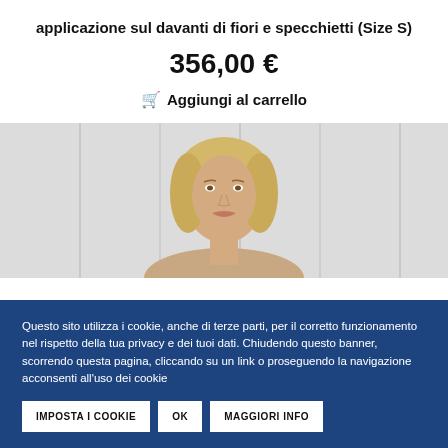applicazione sul davanti di fiori e specchietti (Size S)
356,00 €
🛒 Aggiungi al carrello
[Figure (photo): Photo of a blonde woman model wearing a garment, shown from shoulders up against a light grey background]
Questo sito utilizza i cookie, anche di terze parti, per il corretto funzionamento nel rispetto della tua privacy e dei tuoi dati. Chiudendo questo banner, scorrendo questa pagina, cliccando su un link o proseguendo la navigazione acconsenti all'uso dei cookie
IMPOSTA I COOKIE | OK | MAGGIORI INFO